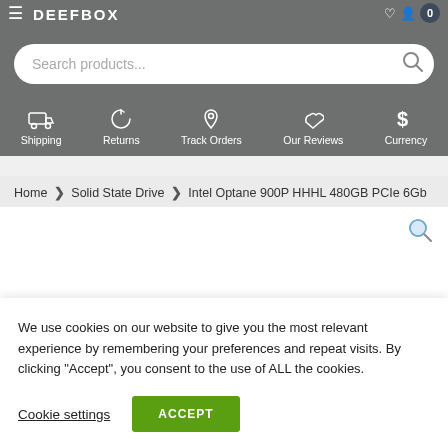DEEFBOX — Navigation header with hamburger menu, logo, search bar, and icons
Search products...
Shipping
Returns
Track Orders
Our Reviews
Currency
Home > Solid State Drive > Intel Optane 900P HHHL 480GB PCIe 6Gb
[Figure (photo): Product image area with magnify icon]
We use cookies on our website to give you the most relevant experience by remembering your preferences and repeat visits. By clicking "Accept", you consent to the use of ALL the cookies.
Cookie settings   ACCEPT